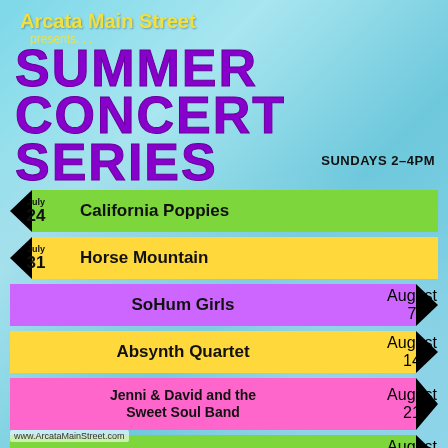Arcata Main Street presents... SUMMER CONCERT SERIES SUNDAYS 2-4PM
July 24 - California Poppies
July 31 - Horse Mountain
August 7 - SoHum Girls
August 14 - Absynth Quartet
August 21 - Jenni & David and the Sweet Soul Band
August 28 - Latin Peppers
September 4 - Amber Soul
September 11 - Arcata Soul Party Crew
www.ArcataMainStreet.com